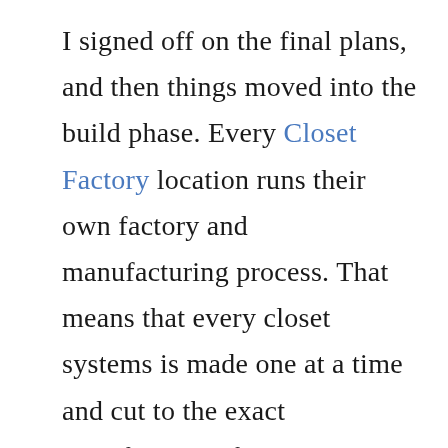I signed off on the final plans, and then things moved into the build phase. Every Closet Factory location runs their own factory and manufacturing process. That means that every closet systems is made one at a time and cut to the exact specification of your space, ensuring a perfect fit!